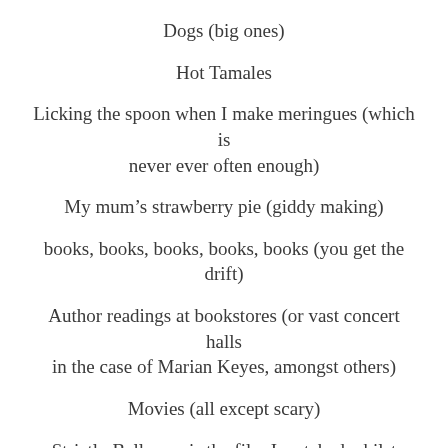Dogs (big ones)
Hot Tamales
Licking the spoon when I make meringues (which is never ever often enough)
My mum's strawberry pie (giddy making)
books, books, books, books, books (you get the drift)
Author readings at bookstores (or vast concert halls in the case of Marian Keyes, amongst others)
Movies (all except scary)
Strictly Ballroom is the film I watched whilst getting gussed up for my wedding